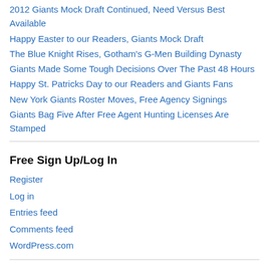2012 Giants Mock Draft Continued, Need Versus Best Available
Happy Easter to our Readers, Giants Mock Draft
The Blue Knight Rises, Gotham's G-Men Building Dynasty
Giants Made Some Tough Decisions Over The Past 48 Hours
Happy St. Patricks Day to our Readers and Giants Fans
New York Giants Roster Moves, Free Agency Signings
Giants Bag Five After Free Agent Hunting Licenses Are Stamped
Free Sign Up/Log In
Register
Log in
Entries feed
Comments feed
WordPress.com
Search nygreporter